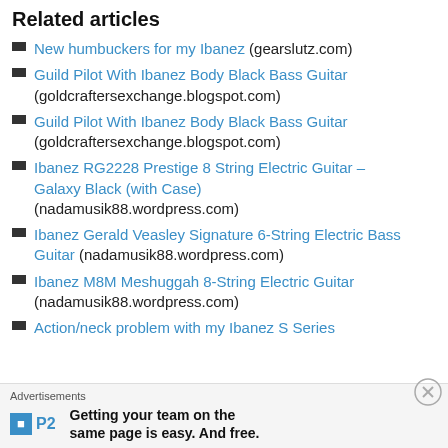Related articles
New humbuckers for my Ibanez (gearslutz.com)
Guild Pilot With Ibanez Body Black Bass Guitar (goldcraftersexchange.blogspot.com)
Guild Pilot With Ibanez Body Black Bass Guitar (goldcraftersexchange.blogspot.com)
Ibanez RG2228 Prestige 8 String Electric Guitar – Galaxy Black (with Case) (nadamusik88.wordpress.com)
Ibanez Gerald Veasley Signature 6-String Electric Bass Guitar (nadamusik88.wordpress.com)
Ibanez M8M Meshuggah 8-String Electric Guitar (nadamusik88.wordpress.com)
Action/neck problem with my Ibanez S Series
Advertisements
Getting your team on the same page is easy. And free.